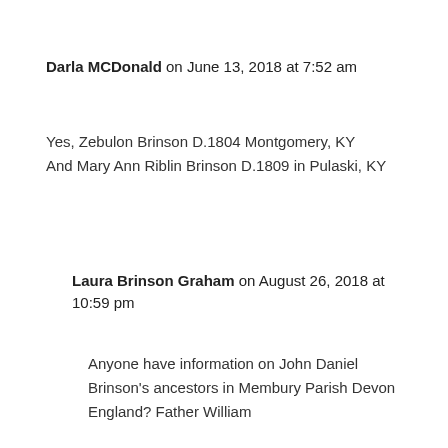Darla MCDonald on June 13, 2018 at 7:52 am
Yes, Zebulon Brinson D.1804 Montgomery, KY
And Mary Ann Riblin Brinson D.1809 in Pulaski, KY
Laura Brinson Graham on August 26, 2018 at 10:59 pm
Anyone have information on John Daniel Brinson's ancestors in Membury Parish Devon England? Father William